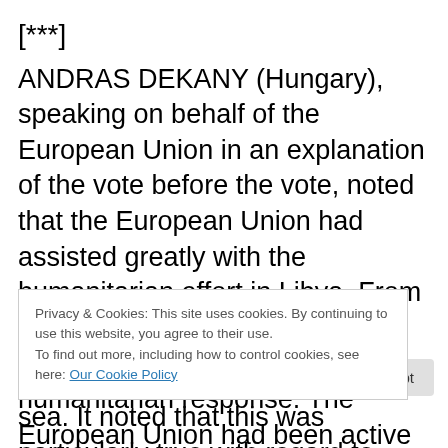[***]
ANDRAS DEKANY (Hungary), speaking on behalf of the European Union in an explanation of the vote before the vote, noted that the European Union had assisted greatly with the humanitarian effort in Libya. From the outset the European Union had been at the forefront of humanitarian response. The European Union had been active in repatriating third country nationals.  This had been vital in reducing the stress on neighboring countries. The draft text was circulated late. The European Union had engaged
Privacy & Cookies: This site uses cookies. By continuing to use this website, you agree to their use.
To find out more, including how to control cookies, see here: Our Cookie Policy
sea. It noted that this was particularly true with regard to